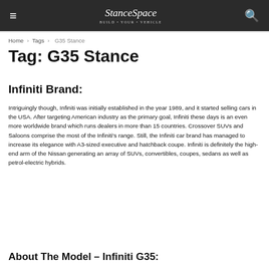StanceSpace — Home › Tags › G35 Stance
Tag: G35 Stance
Infiniti Brand:
Intriguingly though, Infiniti was initially established in the year 1989, and it started selling cars in the USA. After targeting American industry as the primary goal, Infiniti these days is an even more worldwide brand which runs dealers in more than 15 countries. Crossover SUVs and Saloons comprise the most of the Infiniti's range. Still, the Infiniti car brand has managed to increase its elegance with A3-sized executive and hatchback coupe. Infiniti is definitely the high-end arm of the Nissan generating an array of SUVs, convertibles, coupes, sedans as well as petrol-electric hybrids.
About The Model – Infiniti G35: